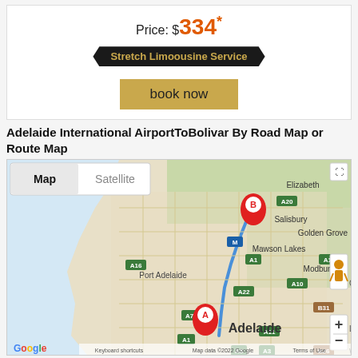Price: $334*
Stretch Limoousine Service
book now
Adelaide International AirportToBolivar By Road Map or Route Map
[Figure (map): Google Map showing route from Adelaide International Airport (marker A) to Bolivar (marker B) via A22/A1 highway, with Map/Satellite toggle, zoom controls, street view icon, and Google branding. Map shows suburbs including Elizabeth, Salisbury, Golden Grove, Mawson Lakes, Modbury, Port Adelaide, Adelaide. Road labels A20, A16, A1, A10, A11, A22, A7, A5, A3, B31, B26 visible.]
Adelaide International Airport Services